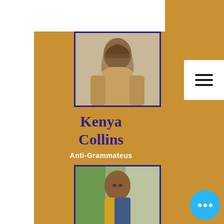[Figure (photo): Portrait photo of a woman in a tan/yellow outfit with dark hair, framed with a dark blue border, on a gold background]
Kenya Collins
Anti-Grammateus
[Figure (photo): Portrait photo of a woman wearing glasses and a yellow jacket with blue accents, smiling, framed with a dark blue border]